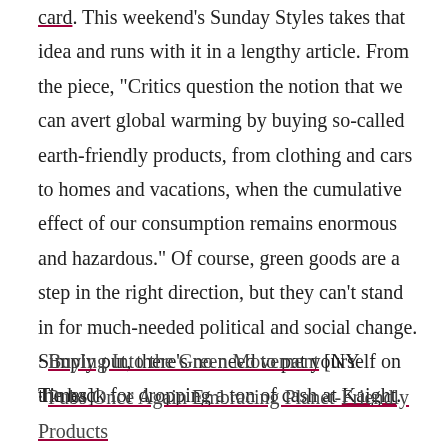card. This weekend's Sunday Styles takes that idea and runs with it in a lengthy article. From the piece, "Critics question the notion that we can avert global warming by buying so-called earth-friendly products, from clothing and cars to homes and vacations, when the cumulative effect of our consumption remains enormous and hazardous." Of course, green goods are a step in the right direction, but they can't stand in for much-needed political and social change. Simply put, there's no need to pat yourself on the back for dropping a ton of cash at Kaight.
· Buying Into the Green Movement [NY Times]
· Pubs Once Again Embracing Planet-Friendly Products [Racked]